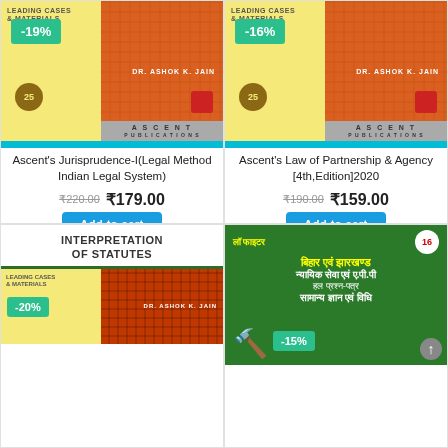[Figure (illustration): Book cover: Ascent's Jurisprudence-I, yellow and orange plaid design, DR. ASHOK K. JAIN, -19% discount badge, ASCENT PUBLICATIONS]
Ascent's Jurisprudence-I(Legal Method Indian Legal System)
₹220.00 ₹179.00
Add to cart
[Figure (illustration): Book cover: Ascent's Law of Partnership & Agency [4th,Edition]2020, yellow and orange plaid design, DR. ASHOK K. JAIN, -16% discount badge, ASCENT PUBLICATIONS]
Ascent's Law of Partnership & Agency [4th,Edition]2020
₹190.00 ₹159.00
Add to cart
[Figure (illustration): Book cover: INTERPRETATION OF STATUTES, Leading Cases & Materials, yellow and dark red plaid, DR. ASHOK K. JAIN, -20% discount badge]
[Figure (illustration): Book cover: Law Fighter, Bihar & Jharkhand Judicial Service & A.P.P., -15% discount badge, green background with Hindi text]